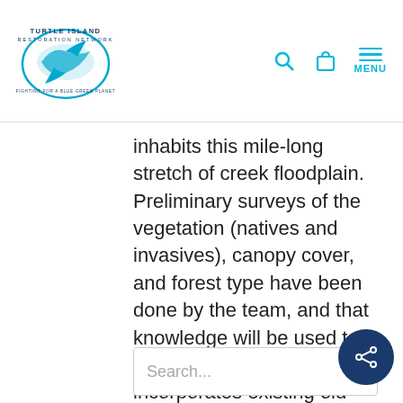Turtle Island Restoration Network — MENU
inhabits this mile-long stretch of creek floodplain. Preliminary surveys of the vegetation (natives and invasives), canopy cover, and forest type have been done by the team, and that knowledge will be used to craft a restoration plan that incorporates existing old growth vegetation as well as plans for removal of invasive plants.